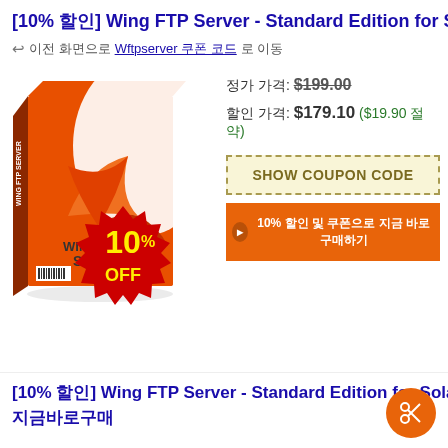[10% 할인] Wing FTP Server - Standard Edition for Sola
↩ 이전 화면으로 Wftpserver 쿠폰 코드 확인
[Figure (illustration): Wing FTP Server software box with orange/red design and 10% OFF red starburst badge]
정가 가격: $199.00
할인 가격: $179.10 ($19.90 절약)
SHOW COUPON CODE
▶ 10% 할인 및 쿠폰으로 지금 바로 구매하기
[10% 할인] Wing FTP Server - Standard Edition for Sola
지금바로구매